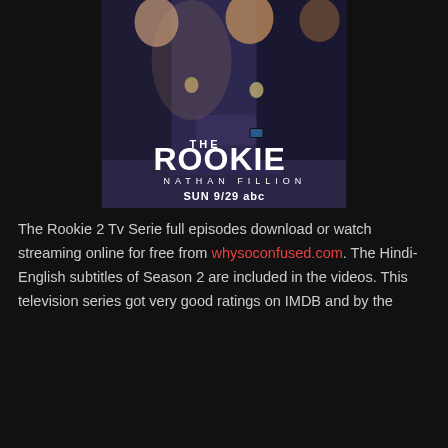[Figure (photo): Promotional poster for TV show 'The Rookie' featuring police officers in uniform. Text on poster reads: THE ROOKIE, NATHAN FILLION, SUN 9/29 abc]
The Rookie 2 Tv Serie full episodes download or watch streaming online for free from whysoconfused.com. The Hindi-English subtitles of Season 2 are included in the videos. This television series got very good ratings on IMDB and by the